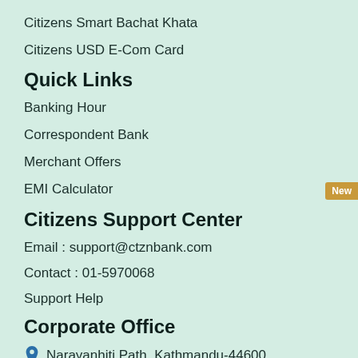Citizens Smart Bachat Khata
Citizens USD E-Com Card
Quick Links
Banking Hour
Correspondent Bank
Merchant Offers
EMI Calculator
Citizens Support Center
Email : support@ctznbank.com
Contact : 01-5970068
Support Help
Corporate Office
Narayanhiti Path, Kathmandu-44600